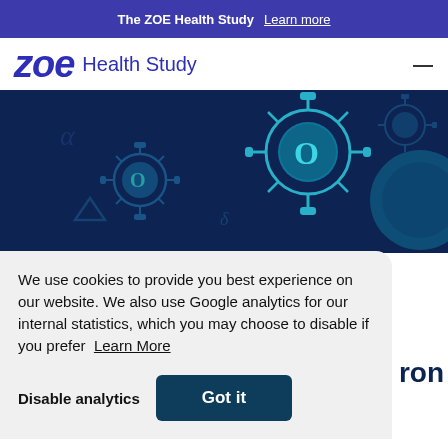The ZOE Health Study  Learn more
zoe Health Study
[Figure (illustration): Dark navy blue hero image featuring illustrated coronavirus/virus particles with Greek letters alpha, delta and other symbols on a dark blue background]
We use cookies to provide you best experience on our website. We also use Google analytics for our internal statistics, which you may choose to disable if you prefer  Learn More
Disable analytics    Got it
ron
research into the new variant. This is where the links